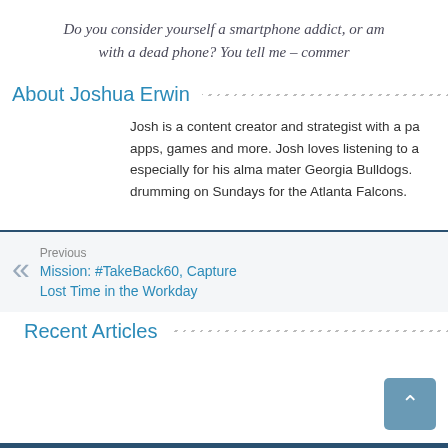Do you consider yourself a smartphone addict, or am with a dead phone? You tell me – commer
About Joshua Erwin
Josh is a content creator and strategist with a pa apps, games and more. Josh loves listening to a especially for his alma mater Georgia Bulldogs. drumming on Sundays for the Atlanta Falcons.
Previous
Mission: #TakeBack60, Capture Lost Time in the Workday
Recent Articles